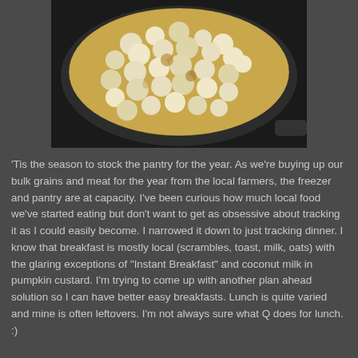[Figure (photo): Overhead view of a pot or pan filled with freshly popped popcorn, photographed from above on a dark background]
'Tis the season to stock the pantry for the year. As we're buying up our bulk grains and meat for the year from the local farmers, the freezer and pantry are at capacity. I've been curious how much local food we've started eating but don't want to get as obsessive about tracking it as I could easily become. I narrowed it down to just tracking dinner. I know that breakfast is mostly local (scrambles, toast, milk, oats) with the glaring exceptions of "Instant Breakfast" and coconut milk in pumpkin custard. I'm trying to come up with another plan ahead solution so I can have better easy breakfasts. Lunch is quite varied and mine is often leftovers. I'm not always sure what Q does for lunch. :)